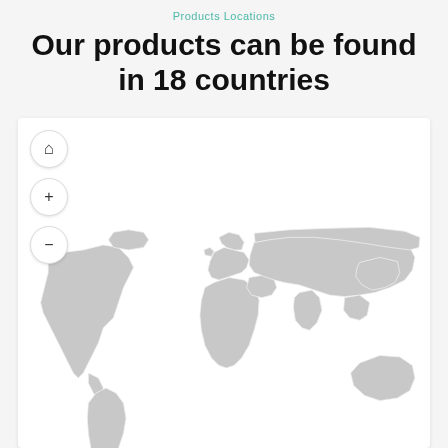Products Locations
Our products can be found in 18 countries
[Figure (map): Interactive world map showing grey landmasses on white background with map control buttons (home, zoom in, zoom out). Displays product locations across 18 countries.]